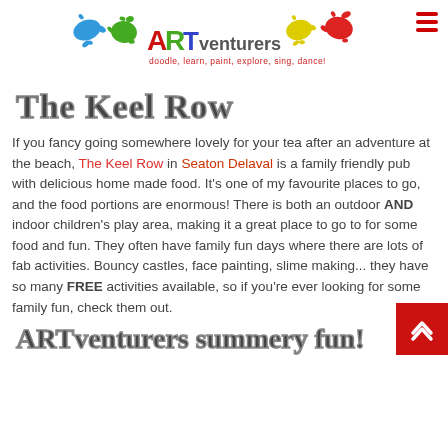[Figure (logo): ARTventurers logo with colourful paint splat icons (blue, green, yellow, red) and the text ARTventurers with tagline 'doodle, learn, paint, explore, sing, dance!']
The Keel Row
If you fancy going somewhere lovely for your tea after an adventure at the beach, The Keel Row in Seaton Delaval is a family friendly pub with delicious home made food. It's one of my favourite places to go, and the food portions are enormous! There is both an outdoor AND indoor children's play area, making it a great place to go to for some food and fun. They often have family fun days where there are lots of fab activities. Bouncy castles, face painting, slime making... they have so many FREE activities available, so if you're ever looking for some family fun, check them out.
ARTventurers summery fun!